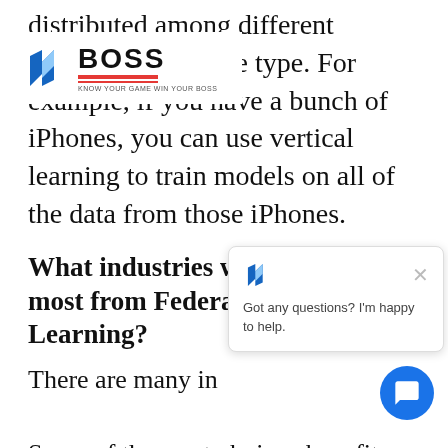distributed among different devices of the same type. For example, if you have a bunch of iPhones, you can use vertical learning to train models on all of the data from those iPhones.
[Figure (logo): BOSS logo with blue angular icon, bold text 'BOSS', tagline 'KNOW YOUR GAME WIN YOUR BOSS', and red underline stripes]
What industries would benefit the most from Federated Machine Learning?
There are many in...
Some of the most obvious benefits would be in fields like healthcare and finance where privacy is a major concern.
[Figure (screenshot): Chat popup widget with BOSS logo icon, close X button, and message 'Got any questions? I'm happy to help.' with a blue circular chat button below]